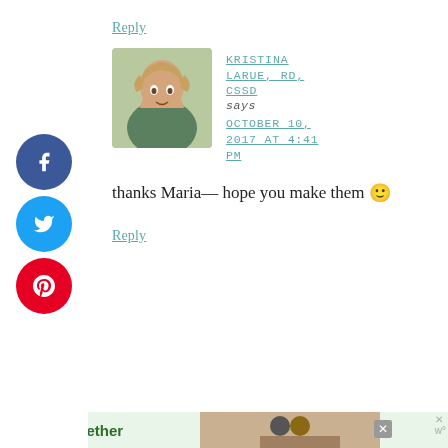Reply
[Figure (photo): Profile photo of Kristina LaRue, a woman with long blonde hair smiling outdoors]
KRISTINA LARUE, RD, CSSD says OCTOBER 10, 2017 AT 4:41 PM
thanks Maria— hope you make them 🙂
Reply
[Figure (infographic): #AloneTogether advertisement banner with image of family]